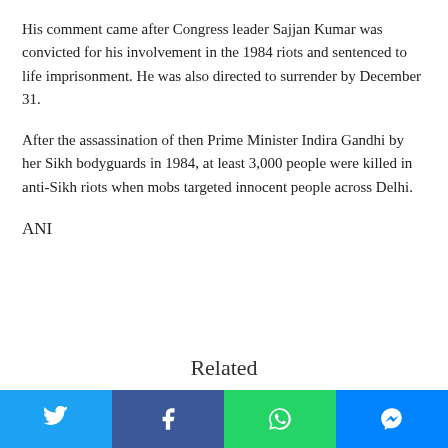His comment came after Congress leader Sajjan Kumar was convicted for his involvement in the 1984 riots and sentenced to life imprisonment. He was also directed to surrender by December 31.
After the assassination of then Prime Minister Indira Gandhi by her Sikh bodyguards in 1984, at least 3,000 people were killed in anti-Sikh riots when mobs targeted innocent people across Delhi.
ANI
Related
[Figure (infographic): Social media share bar with four buttons: Twitter (blue), Facebook (dark blue), WhatsApp (green), Messenger (blue)]